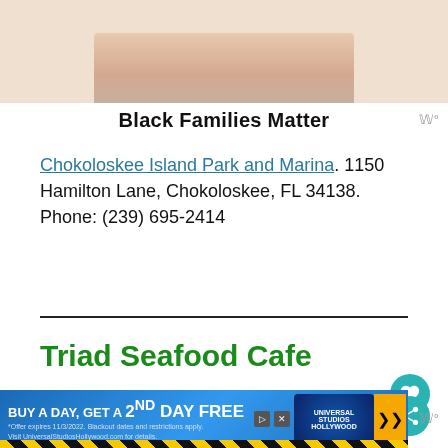[Figure (photo): Top advertisement image showing 'Black Families Matter' banner with a photo above it]
Chokoloskee Island Park and Marina. 1150 Hamilton Lane, Chokoloskee, FL 34138. Phone: (239) 695-2414
Triad Seafood Cafe
[Figure (photo): Photo of Triad Seafood Cafe interior/food with a red drink visible]
[Figure (photo): Bottom advertisement banner: BUY A DAY, GET A 2ND DAY FREE - Universal Studios Hollywood]